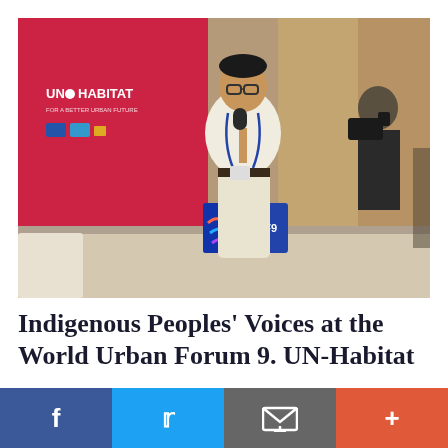[Figure (photo): A man in a white shirt and khaki pants stands speaking into a microphone at what appears to be the World Urban Forum 9 (WUF9) event. He wears a conference lanyard and badge. In the background is a red UN-Habitat banner and a photographer in black holding a camera. A WUF9 branded box is visible on a table.]
Indigenous Peoples' Voices at the World Urban Forum 9. UN-Habitat